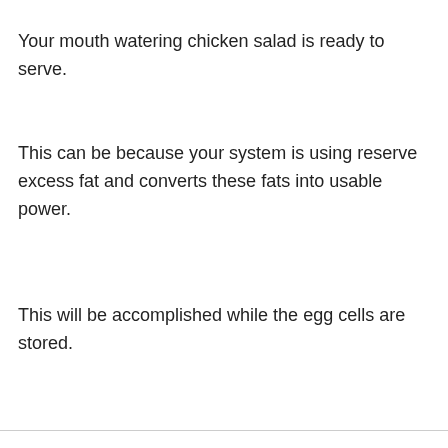Your mouth watering chicken salad is ready to serve.
This can be because your system is using reserve excess fat and converts these fats into usable power.
This will be accomplished while the egg cells are stored.
no weight loss hcg diet on August 17, 2014 at 10:00 am
" He had been admitted to the ER due to a heart attack. Don’t let yourself be baffled, acquiring benefits on the <. It is though because you just